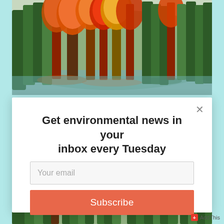[Figure (photo): Autumn forest scene with colorful foliage — orange, red, yellow and green trees reflected in water, at the top of the page behind a modal popup]
Get environmental news in your inbox every Tuesday
Your email
Subscribe
[Figure (photo): Autumn forest scene at the bottom edge of the page]
AddThis